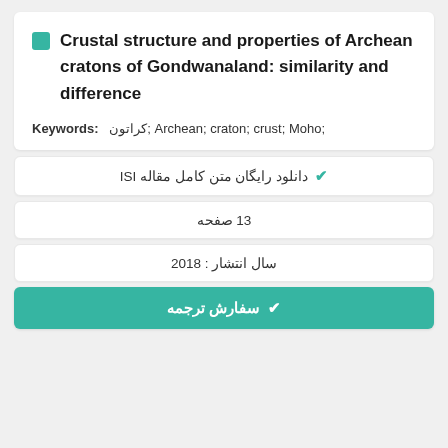Crustal structure and properties of Archean cratons of Gondwanaland: similarity and difference
Keywords: کراتون; Archean; craton; crust; Moho;
دانلود رایگان متن کامل مقاله ISI
13 صفحه
سال انتشار : 2018
سفارش ترجمه